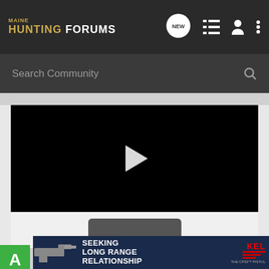MAINE HUNTING FORUMS
Search Community
[Figure (screenshot): Video player with black background and white play button triangle in center]
[Figure (screenshot): Kel-Tec advertisement banner: 'SEEKING LONG RANGE RELATIONSHIP - THE CP33 PISTOL' with gun image]